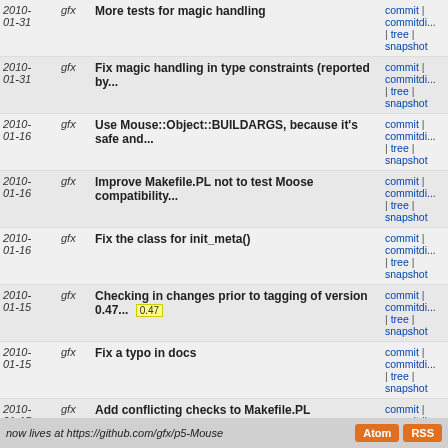| Date | Author | Message | Links |
| --- | --- | --- | --- |
| 2010-01-31 | gfx | More tests for magic handling | commit | commitdiff | tree | snapshot |
| 2010-01-31 | gfx | Fix magic handling in type constraints (reported by... | commit | commitdiff | tree | snapshot |
| 2010-01-16 | gfx | Use Mouse::Object::BUILDARGS, because it's safe and... | commit | commitdiff | tree | snapshot |
| 2010-01-16 | gfx | Improve Makefile.PL not to test Moose compatibility... | commit | commitdiff | tree | snapshot |
| 2010-01-16 | gfx | Fix the class for init_meta() | commit | commitdiff | tree | snapshot |
| 2010-01-15 | gfx | Checking in changes prior to tagging of version 0.47... 0.47 | commit | commitdiff | tree | snapshot |
| 2010-01-15 | gfx | Fix a typo in docs | commit | commitdiff | tree | snapshot |
| 2010-01-15 | gfx | Add conflicting checks to Makefile.PL | commit | commitdiff | tree | snapshot |
| 2010-01-15 | gfx | Makefile.PL requires Module::Install::XSUtil 0.21 | commit | commitdiff | tree | snapshot |
next
now lives at https://github.com/gfx/p5-Mouse  Atom  RSS